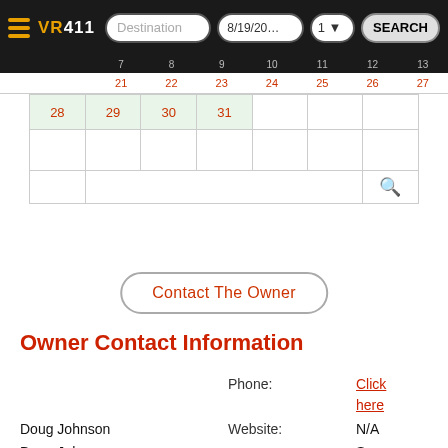VR411 | Destination | 8/19/20... | 1 | SEARCH
[Figure (screenshot): Partial calendar view showing dates 28, 29, 30, 31 highlighted in green, with a search icon row below]
Contact The Owner
Owner Contact Information
|  | Label | Value |
| --- | --- | --- |
|  | Phone: | Click here |
| Doug Johnson | Website: | N/A |
| Doug Johnson |  | Sep. |
| 713 Sandpiper Pt | Member Since: | 27th, |
| Fort Collins, CO 80525 |  | 2002 |
|  | Other Listings: | View here |